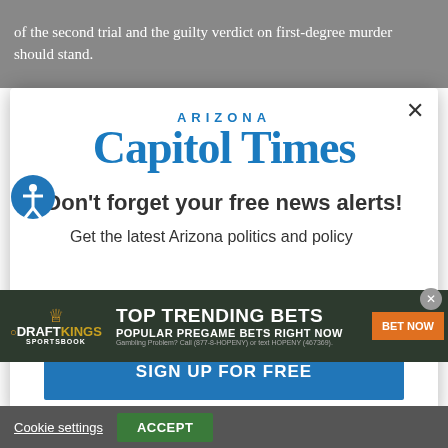of the second trial and the guilty verdict on first-degree murder should stand.
[Figure (logo): Arizona Capitol Times logo in blue]
Don't forget your free news alerts!
Get the latest Arizona politics and policy
[Figure (infographic): DraftKings Sportsbook advertisement banner: TOP TRENDING BETS - POPULAR PREGAME BETS RIGHT NOW - BET NOW button]
SIGN UP FOR FREE
Cookie settings   ACCEPT